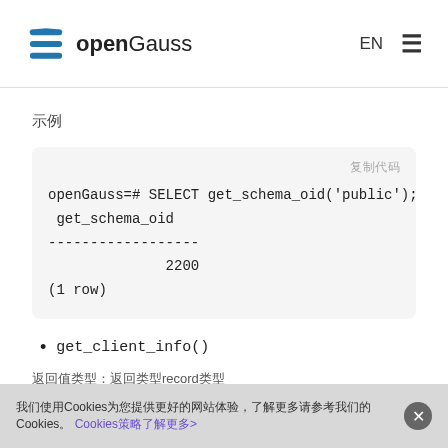openGauss EN
示例
openGauss=# SELECT get_schema_oid('public');
 get_schema_oid
------------------
              2200
(1 row)
get_client_info()
返回值类型：record类型
返回值类型record
我们使用Cookies为您提供更好的网站体验，详情请参考 Cookies策略了解更多>